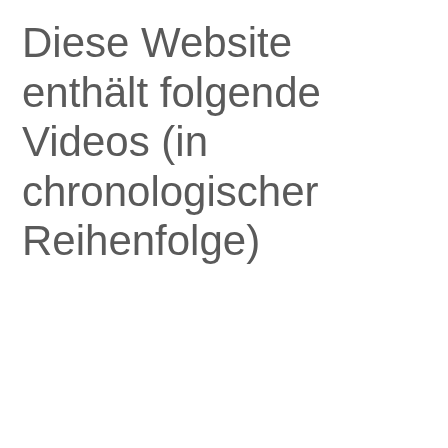Diese Website enthält folgende Videos (in chronologischer Reihenfolge)
[Figure (photo): DVD cover of Henryk Szeryng on EMI Classics label, showing green band with artist name, gray band with subtitle text, and black-and-white photo of violinist playing. Below is a video player panel with a gray background. A three-dot menu button is visible at bottom right.]